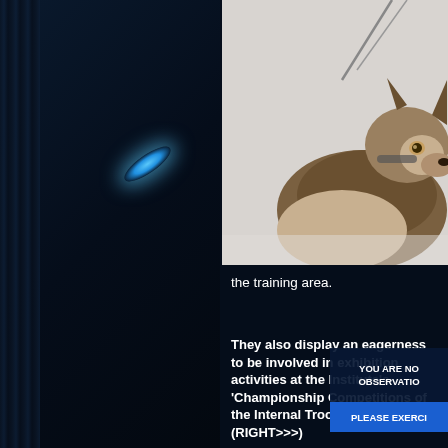[Figure (photo): Dark stage/room scene on left with blue glowing light artifact, and a wolf or large canine on a leash photographed in snowy outdoor setting on the right half.]
the training area.
They also display an eagerness to be involved in exhibition activities at the Institute’s ‘Championship Competitions of the Internal Troop Service.’ (RIGHT>>>)
YOU ARE NO OBSERVATIO
PLEASE EXERCI